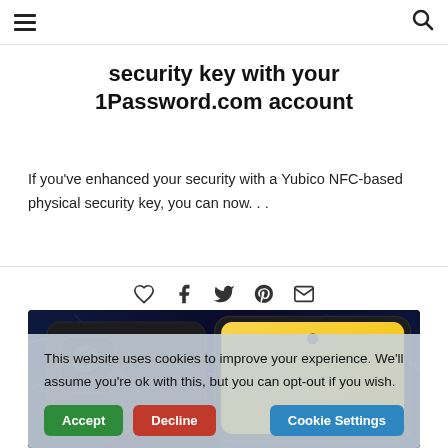☰ [navigation menu] [search icon]
security key with your 1Password.com account
If you've enhanced your security with a Yubico NFC-based physical security key, you can now...
[Figure (infographic): Social sharing icons: heart (like), Facebook, Twitter, Pinterest, email]
[Figure (photo): Two smartphones (Poco X3) shown front and back against a dark blue glowing network background]
This website uses cookies to improve your experience. We'll assume you're ok with this, but you can opt-out if you wish. [Accept] [Decline] [Cookie Settings]